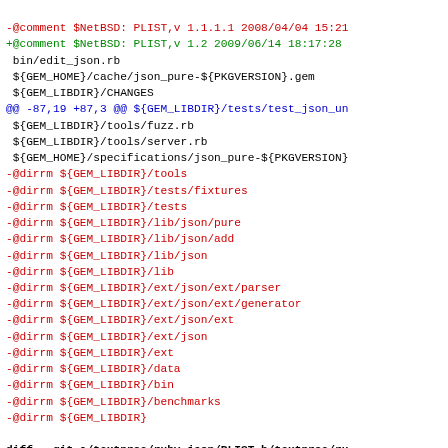Diff output showing PLIST changes for textproc/ruby-json package in NetBSD. Shows removed lines (red), added lines (green), context lines (black), and diff headers (blue).